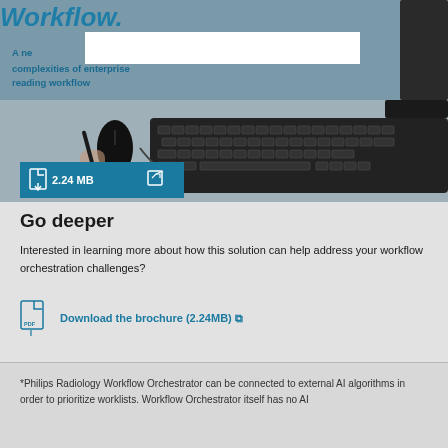[Figure (photo): Cropped screenshot/photo showing a medical workflow document page with a doctor/person using a keyboard and mouse. Top shows italic bold heading 'Workflow.' in blue over a white bar, with subtitle text 'A new way to manage the complexities of enterprise reading workflow' in blue. Dark keyboard and mouse visible. A teal download badge shows '2.24 MB' with a file icon.]
Go deeper
Interested in learning more about how this solution can help address your workflow orchestration challenges?
Download the brochure (2.24MB)
*Philips Radiology Workflow Orchestrator can be connected to external AI algorithms in order to prioritize worklists. Workflow Orchestrator itself has no AI